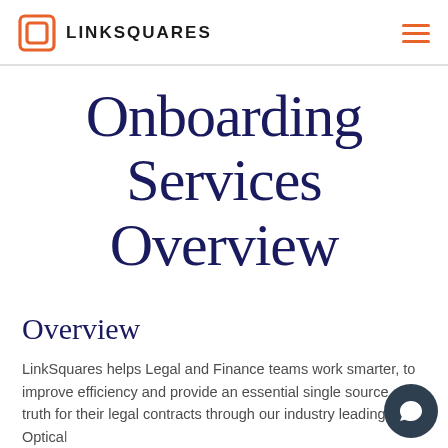LINKSQUARES
Onboarding Services Overview
Overview
LinkSquares helps Legal and Finance teams work smarter, to improve efficiency and provide an essential single source of truth for their legal contracts through our industry leading Optical Character Recognition (OCR) technology and